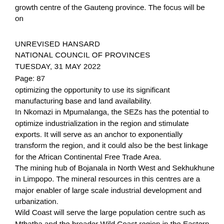growth centre of the Gauteng province. The focus will be on
UNREVISED HANSARD
NATIONAL COUNCIL OF PROVINCES
TUESDAY, 31 MAY 2022
Page: 87
optimizing the opportunity to use its significant manufacturing base and land availability.
In Nkomazi in Mpumalanga, the SEZs has the potential to optimize industrialization in the region and stimulate exports. It will serve as an anchor to exponentially transform the region, and it could also be the best linkage for the African Continental Free Trade Area.
The mining hub of Bojanala in North West and Sekhukhune in Limpopo. The mineral resources in this centres are a major enabler of large scale industrial development and urbanization.
Wild Coast will serve the large population centre such as Mthatha and the broader Wild Coast region in the Eastern Cape. It will optimize the industrial potential of the region and have a multiplying effect in logistics and tourism industry.